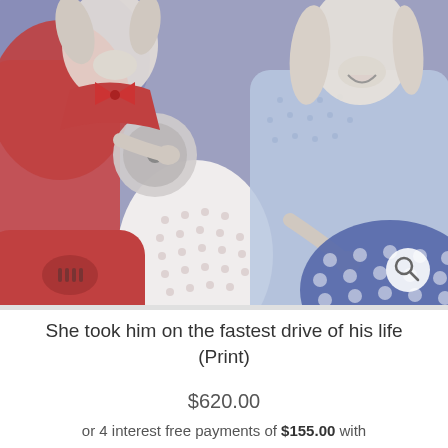[Figure (illustration): Illustration of two anthropomorphic dogs (one in red polka-dot outfit, one in light blue shirt) riding a scooter together on a lavender/purple background with polka-dot patterns. A search/zoom icon appears in the bottom-right corner.]
She took him on the fastest drive of his life (Print)
$620.00
or 4 interest free payments of $155.00 with